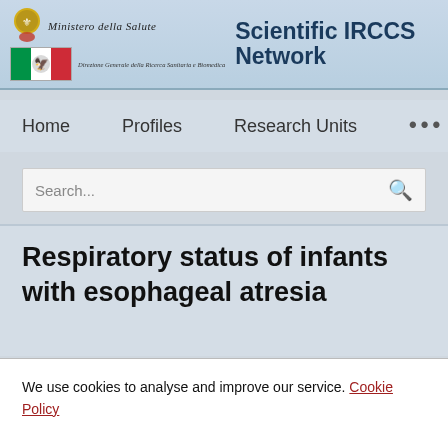Scientific IRCCS Network — Ministero della Salute — Direzione Generale della Ricerca Sanitaria e Biomedica
Home   Profiles   Research Units   ...
Search...
Respiratory status of infants with esophageal atresia
We use cookies to analyse and improve our service. Cookie Policy